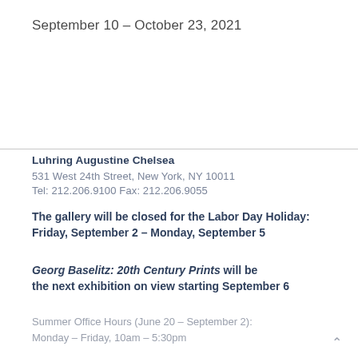September 10 – October 23, 2021
Luhring Augustine Chelsea
531 West 24th Street, New York, NY 10011
Tel: 212.206.9100  Fax: 212.206.9055
The gallery will be closed for the Labor Day Holiday: Friday, September 2 – Monday, September 5
Georg Baselitz: 20th Century Prints will be the next exhibition on view starting September 6
Summer Office Hours (June 20 – September 2):
Monday – Friday, 10am – 5:30pm